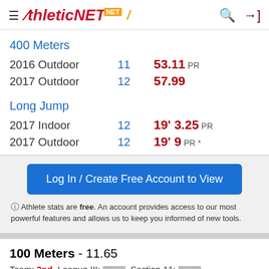Athletic.NET+ logo with navigation icons
400 Meters
2016 Outdoor 11  53.11 PR
2017 Outdoor 12  57.99
Long Jump
2017 Indoor 12  19' 3.25 PR
2017 Outdoor 12  19' 9 PR *
Log In / Create Free Account to View
Athlete stats are free. An account provides access to our most powerful features and allows us to keep you informed of new tools.
100 Meters - 11.65
Team: 2nd  League III: [blurred]  Section 11: [blurred]
NYSPHSAA: [blurred]  NY: [blurred]  National: [blurred]